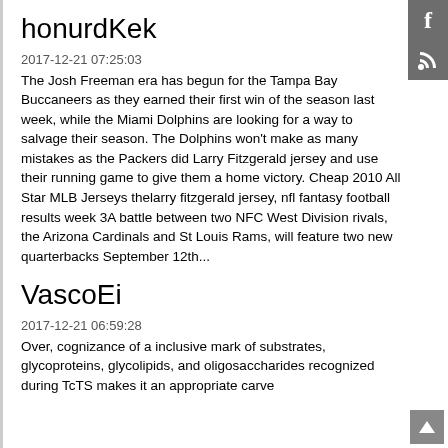honurdKek
2017-12-21 07:25:03
The Josh Freeman era has begun for the Tampa Bay Buccaneers as they earned their first win of the season last week, while the Miami Dolphins are looking for a way to salvage their season. The Dolphins won't make as many mistakes as the Packers did Larry Fitzgerald jersey and use their running game to give them a home victory. Cheap 2010 All Star MLB Jerseys thelarry fitzgerald jersey, nfl fantasy football results week 3A battle between two NFC West Division rivals, the Arizona Cardinals and St Louis Rams, will feature two new quarterbacks September 12th...
VascoEi
2017-12-21 06:59:28
Over, cognizance of a inclusive mark of substrates, glycoproteins, glycolipids, and oligosaccharides recognized during TcTS makes it an appropriate carve